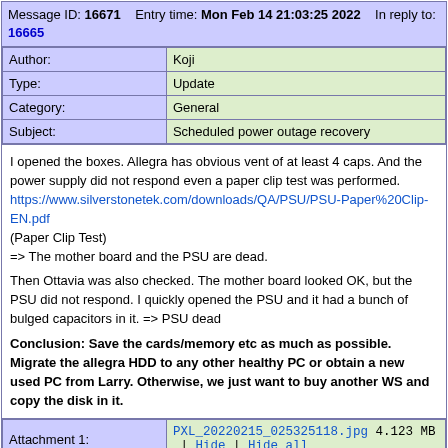Message ID: 16671   Entry time: Mon Feb 14 21:03:25 2022   In reply to: 16665
| Author: | Koji |
| --- | --- |
| Author: | Koji |
| Type: | Update |
| Category: | General |
| Subject: | Scheduled power outage recovery |
I opened the boxes. Allegra has obvious vent of at least 4 caps. And the power supply did not respond even a paper clip test was performed.
https://www.silverstonetek.com/downloads/QA/PSU/PSU-Paper%20Clip-EN.pdf
(Paper Clip Test)
=> The mother board and the PSU are dead.

Then Ottavia was also checked. The mother board looked OK, but the PSU did not respond. I quickly opened the PSU and it had a bunch of bulged capacitors in it. => PSU dead

Conclusion: Save the cards/memory etc as much as possible. Migrate the allegra HDD to any other healthy PC or obtain a new used PC from Larry. Otherwise, we just want to buy another WS and copy the disk in it.
| Attachment 1: | PXL_20220215_025325118.jpg 4.123 MB | Hide | Hide all |
| --- | --- |
| Attachment 1: | PXL_20220215_025325118.jpg 4.123 MB | Hide | Hide all |
ELOG V3.1.3-